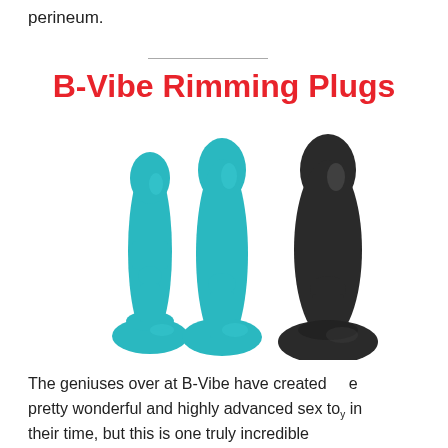perineum.
B-Vibe Rimming Plugs
[Figure (photo): Three anal plugs in graduating sizes: two teal/turquoise colored plugs (small and medium) and one larger black plug, all with suction-cup bases, displayed against a white background.]
The geniuses over at B-Vibe have created a pretty wonderful and highly advanced sex toy in their time, but this is one truly incredible